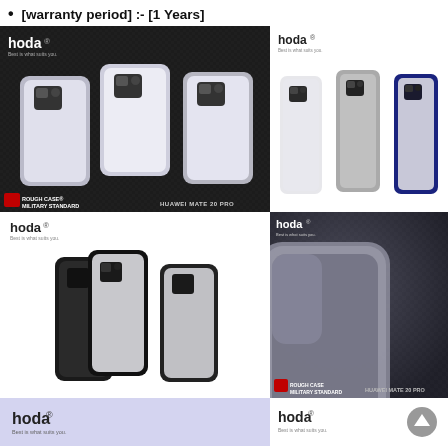[warranty period] :- [1 Years]
[Figure (photo): Hoda Rough Case Military Standard for Huawei Mate 20 Pro - product photo showing three phone cases on dark background]
[Figure (photo): Hoda phone cases in clear, gray, and navy colors on white background]
[Figure (photo): Hoda phone cases in black colors on white background]
[Figure (photo): Hoda Rough Case Military Standard for Huawei Mate 20 Pro - close-up detail on dark carbon fiber background]
[Figure (photo): Hoda logo on light purple/lavender background - footer partial]
[Figure (photo): Hoda logo on white background with scroll-to-top button - footer partial]